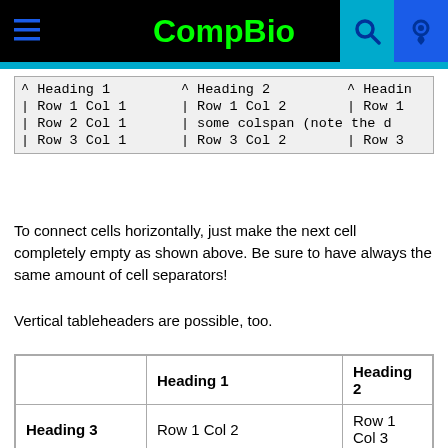CompBio
| ^ Heading 1 | ^ Heading 2 | ^ Heading 3 (truncated) |
| --- | --- | --- |
| | Row 1 Col 1 | | Row 1 Col 2 | | Row 1 (truncated) |
| | Row 2 Col 1 | | some colspan (note the d…) |  |
| | Row 3 Col 1 | | Row 3 Col 2 | | Row 3 (truncated) |
To connect cells horizontally, just make the next cell completely empty as shown above. Be sure to have always the same amount of cell separators!
Vertical tableheaders are possible, too.
|  | Heading 1 | Heading 2 |
| --- | --- | --- |
| Heading 3 | Row 1 Col 2 | Row 1 Col 3 |
| Heading 4 | no colspan this time |  |
| Heading 5 | Row 2 Col 2 | Row 2 Col 3 |